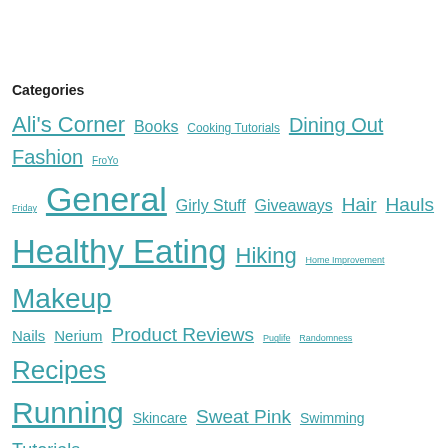Categories
Ali's Corner Books Cooking Tutorials Dining Out Fashion FroYo Friday General Girly Stuff Giveaways Hair Hauls Healthy Eating Hiking Home Improvement Makeup Nails Nerium Product Reviews Puglife Randomness Recipes Running Skincare Sweat Pink Swimming Tutorials Vacation Time Videos What's For Dinner Wednesday Womens' Health Working Out
Follow me on bloglovin'